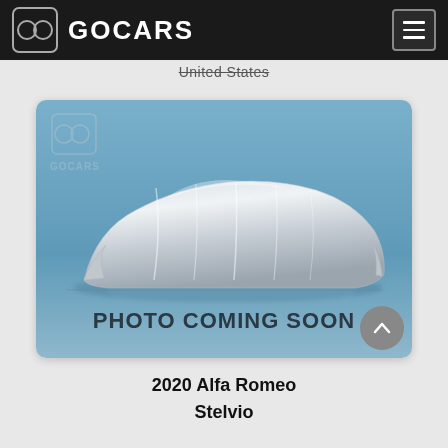GOCARS
United States
[Figure (photo): A car covered by a silver satin cloth with GOCARS watermark logo, text reads PHOTO COMING SOON on a blue gradient background]
2020 Alfa Romeo Stelvio